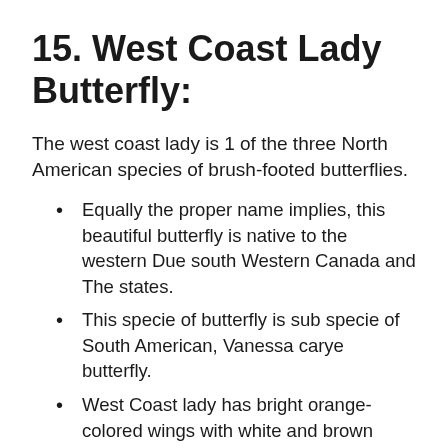15. West Coast Lady Butterfly:
The west coast lady is 1 of the three North American species of brush-footed butterflies.
Equally the proper name implies, this beautiful butterfly is native to the western Due south Western Canada and The states.
This specie of butterfly is sub specie of South American, Vanessa carye butterfly.
West Coast lady has bright orange-colored wings with white and brown pattern and blue eyespots.